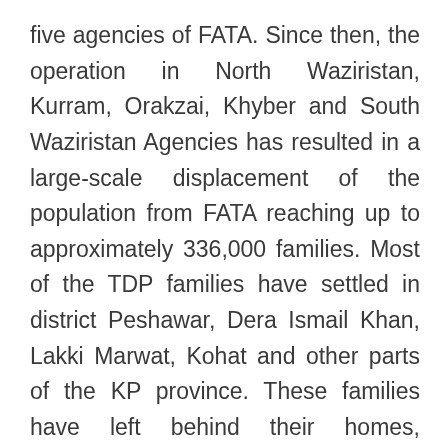five agencies of FATA. Since then, the operation in North Waziristan, Kurram, Orakzai, Khyber and South Waziristan Agencies has resulted in a large-scale displacement of the population from FATA reaching up to approximately 336,000 families. Most of the TDP families have settled in district Peshawar, Dera Ismail Khan, Lakki Marwat, Kohat and other parts of the KP province. These families have left behind their homes, properties, livestock and assets, and are currently living under difficult conditions either in camps or in host families.
The current system does not incorporate a systematic response to disasters or emergency